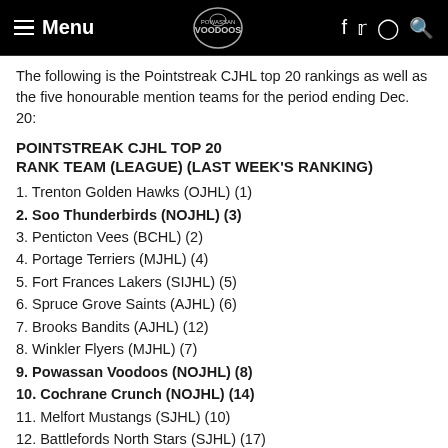Menu | Voodoos logo | f  ♦ ○ Q
The following is the Pointstreak CJHL top 20 rankings as well as the five honourable mention teams for the period ending Dec. 20:
POINTSTREAK CJHL TOP 20
RANK TEAM (LEAGUE) (LAST WEEK'S RANKING)
1. Trenton Golden Hawks (OJHL) (1)
2. Soo Thunderbirds (NOJHL) (3)
3. Penticton Vees (BCHL) (2)
4. Portage Terriers (MJHL) (4)
5. Fort Frances Lakers (SIJHL) (5)
6. Spruce Grove Saints (AJHL) (6)
7. Brooks Bandits (AJHL) (12)
8. Winkler Flyers (MJHL) (7)
9. Powassan Voodoos (NOJHL) (8)
10. Cochrane Crunch (NOJHL) (14)
11. Melfort Mustangs (SJHL) (10)
12. Battlefords North Stars (SJHL) (17)